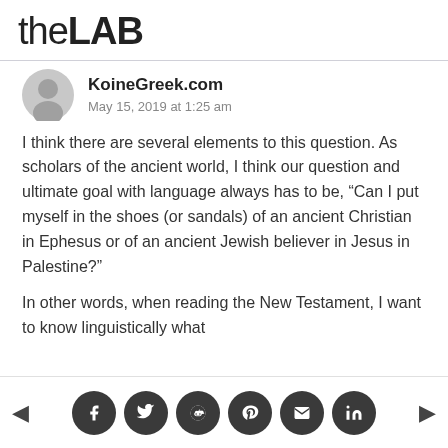theLAB
KoineGreek.com
May 15, 2019 at 1:25 am
I think there are several elements to this question. As scholars of the ancient world, I think our question and ultimate goal with language always has to be, “Can I put myself in the shoes (or sandals) of an ancient Christian in Ephesus or of an ancient Jewish believer in Jesus in Palestine?”
In other words, when reading the New Testament, I want to know linguistically what
Social share buttons: Facebook, Twitter, Reddit, Pinterest, Email, LinkedIn